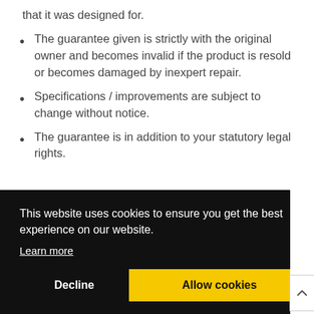that it was designed for.
The guarantee given is strictly with the original owner and becomes invalid if the product is resold or becomes damaged by inexpert repair.
Specifications / improvements are subject to change without notice.
The guarantee is in addition to your statutory legal rights.
This website uses cookies to ensure you get the best experience on our website.
Learn more
Decline
Allow cookies